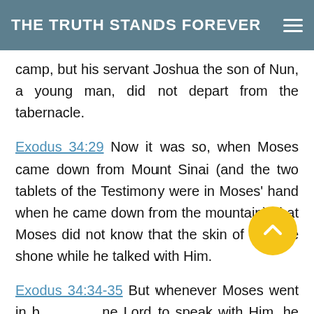THE TRUTH STANDS FOREVER
camp, but his servant Joshua the son of Nun, a young man, did not depart from the tabernacle.
Exodus 34:29 Now it was so, when Moses came down from Mount Sinai (and the two tablets of the Testimony were in Moses' hand when he came down from the mountain), that Moses did not know that the skin of his face shone while he talked with Him.
Exodus 34:34-35 But whenever Moses went in before the Lord to speak with Him, he would take the veil off until he came out; and he would come out and speak to the children of Israel whatever he had been